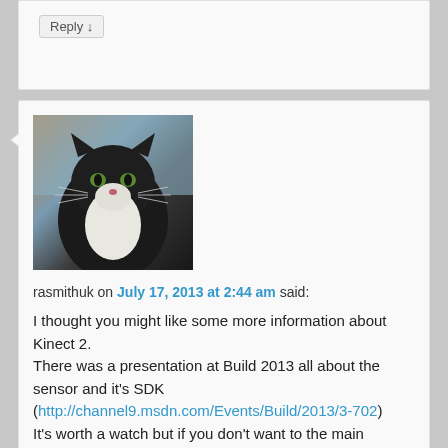Reply ↓
[Figure (photo): Avatar photo of a black and white cat looking upward]
rasmithuk on July 17, 2013 at 2:44 am said:
I thought you might like some more information about Kinect 2.
There was a presentation at Build 2013 all about the sensor and it's SDK (http://channel9.msdn.com/Events/Build/2013/3-702)
It's worth a watch but if you don't want to the main highlights were:
> No protection on the output. The guys claims that they've actually made the protocol nicer to deal with in this version, and that they want people to use it with other toolkits. From other sources, not the video, it's been claimed the weird plug is to